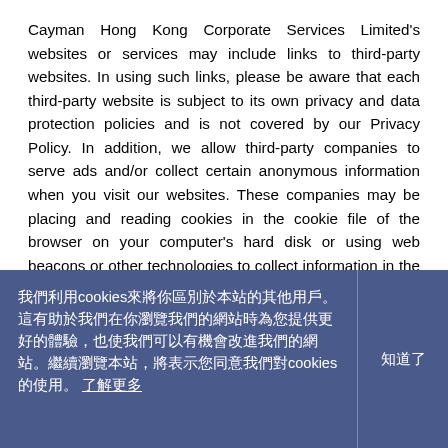Cayman Hong Kong Corporate Services Limited's websites or services may include links to third-party websites. In using such links, please be aware that each third-party website is subject to its own privacy and data protection policies and is not covered by our Privacy Policy. In addition, we allow third-party companies to serve ads and/or collect certain anonymous information when you visit our websites. These companies may be placing and reading cookies in the cookie file of the browser on your computer's hard disk or using web beacons or other technologies to collect information in the course of ads being served on this website. These companies may use
我們利用cookies來將你區別於本站的其他用戶。這有助於我們在你瀏覽我們的網站時為您提供更好的體驗，也使我們可以有機會改進我們的網站。繼續瀏覽本站，將表示您同意我們對cookies的使用。 了解更多
知道了